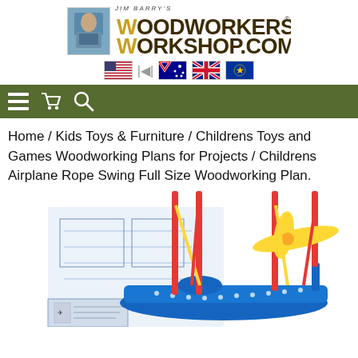[Figure (logo): Jim Barry's Woodworkers Workshop.com logo with photo of woodworker on left and stylized wood-textured text on right, with flag icons below (US, Canada, Australia, UK, EU)]
[Figure (other): Navigation bar with dark olive/green background showing hamburger menu icon, shopping cart icon, and search/magnifying glass icon]
Home / Kids Toys & Furniture / Childrens Toys and Games Woodworking Plans for Projects / Childrens Airplane Rope Swing Full Size Woodworking Plan.
[Figure (illustration): Colorful children's airplane rope swing woodworking plan product image showing a blue airplane-shaped swing seat with red vertical poles, yellow propeller, and woodworking blueprint/plan sheets visible in the background]